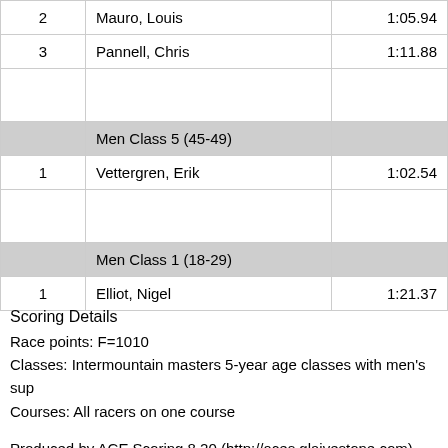| Rank | Name | Time |
| --- | --- | --- |
| 2 | Mauro, Louis | 1:05.94 |
| 3 | Pannell, Chris | 1:11.88 |
|  |  |  |
|  | Men Class 5 (45-49) |  |
| 1 | Vettergren, Erik | 1:02.54 |
|  |  |  |
|  | Men Class 1 (18-29) |  |
| 1 | Elliot, Nigel | 1:21.37 |
Scoring Details
Race points: F=1010
Classes: Intermountain masters 5-year age classes with men's sup
Courses: All racers on one course
Produced by ACE Scoring 8.20 (http://aces.glaivestone.com)